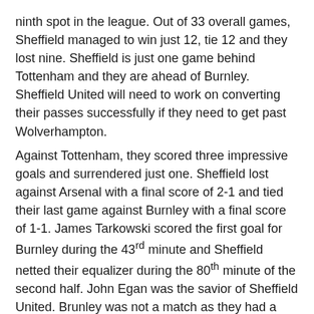ninth spot in the league. Out of 33 overall games, Sheffield managed to win just 12, tie 12 and they lost nine. Sheffield is just one game behind Tottenham and they are ahead of Burnley. Sheffield United will need to work on converting their passes successfully if they need to get past Wolverhampton.
Against Tottenham, they scored three impressive goals and surrendered just one. Sheffield lost against Arsenal with a final score of 2-1 and tied their last game against Burnley with a final score of 1-1. James Tarkowski scored the first goal for Burnley during the 43rd minute and Sheffield netted their equalizer during the 80th minute of the second half. John Egan was the savior of Sheffield United. Brunley was not a match as they had a ball possession of just 47 percent. Sheffield committed more fouls, but had more striking opportunities.
Sheffield United vs Wolverhampton English Premier League Soccer Predictions 7/8/2020
Wolverhampton Wanderers are one of those recognized